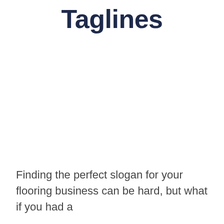Taglines
Finding the perfect slogan for your flooring business can be hard, but what if you had a